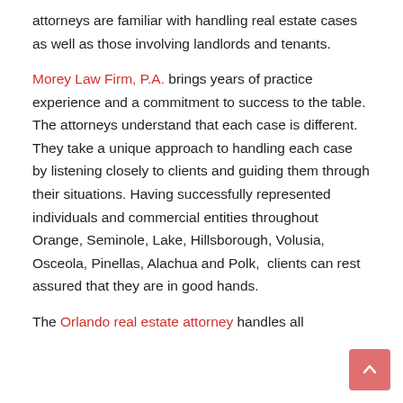attorneys are familiar with handling real estate cases as well as those involving landlords and tenants.
Morey Law Firm, P.A. brings years of practice experience and a commitment to success to the table. The attorneys understand that each case is different. They take a unique approach to handling each case by listening closely to clients and guiding them through their situations. Having successfully represented individuals and commercial entities throughout Orange, Seminole, Lake, Hillsborough, Volusia, Osceola, Pinellas, Alachua and Polk,  clients can rest assured that they are in good hands.
The Orlando real estate attorney handles all